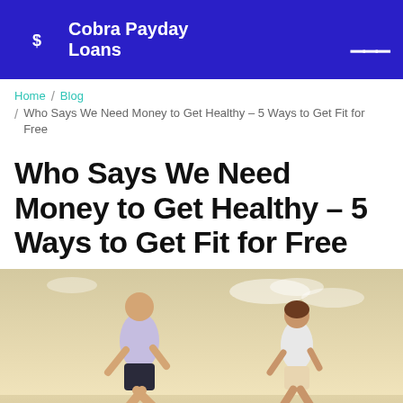Cobra Payday Loans
Home / Blog / Who Says We Need Money to Get Healthy – 5 Ways to Get Fit for Free
Who Says We Need Money to Get Healthy – 5 Ways to Get Fit for Free
[Figure (photo): Two people running outdoors against a bright sky, shot from behind at mid-body level. One person wears a light purple shirt and dark shorts; the other wears a white top and light shorts.]